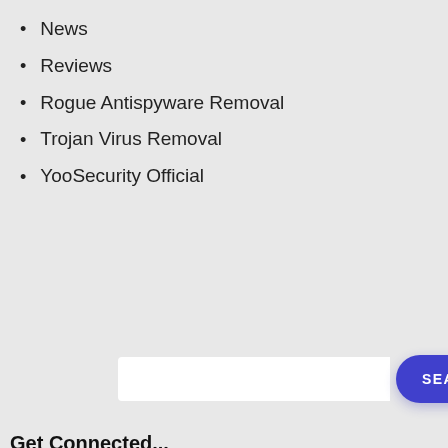News
Reviews
Rogue Antispyware Removal
Trojan Virus Removal
YooSecurity Official
Get Connected...